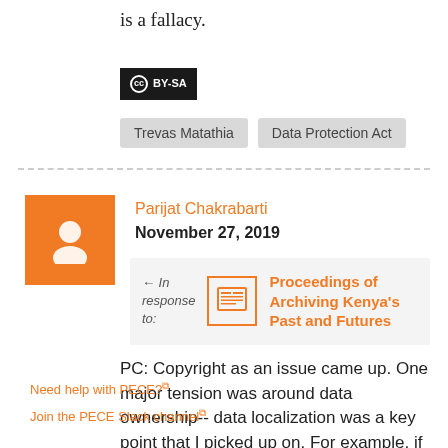is a fallacy.
[Figure (logo): Creative Commons CC BY-SA license badge, dark background with white text]
Trevas Matathia   Data Protection Act
Parijat Chakrabarti
November 27, 2019
[Figure (other): In response to: Proceedings of Archiving Kenya's Past and Futures — orange bordered box with newspaper icon]
PC: Copyright as an issue came up. One major tension was around data ownership-- data localization was a key point that I picked up on. For example, if n data is stored on
Need help with PECE?
Join the PECE Slack channel